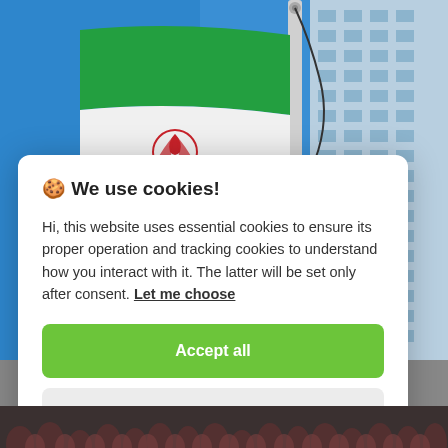[Figure (photo): Iranian flag waving against a blue sky with a flagpole and building in the background]
🍪 We use cookies!
Hi, this website uses essential cookies to ensure its proper operation and tracking cookies to understand how you interact with it. The latter will be set only after consent. Let me choose
[Figure (screenshot): Accept all button (green)]
[Figure (screenshot): Reject all button (light grey)]
[Figure (photo): Crowd of people at bottom of page]